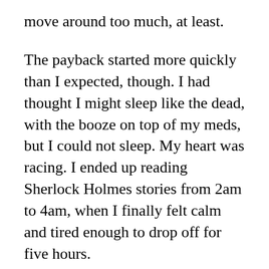move around too much, at least.
The payback started more quickly than I expected, though. I had thought I might sleep like the dead, with the booze on top of my meds, but I could not sleep. My heart was racing. I ended up reading Sherlock Holmes stories from 2am to 4am, when I finally felt calm and tired enough to drop off for five hours.
The next day was a complete write-off. Exhausted beyond belief, sore and sick and immobile, unthinking and aphasic, wincing at every sound. I was unable to eat, or even